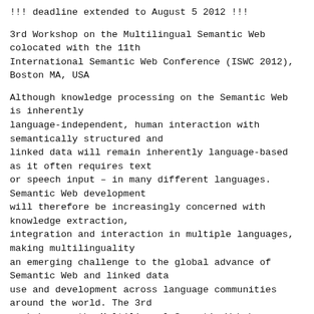!!! deadline extended to August 5 2012 !!!
3rd Workshop on the Multilingual Semantic Web
colocated with the 11th
International Semantic Web Conference (ISWC 2012),
Boston MA, USA
Although knowledge processing on the Semantic Web is inherently
language-independent, human interaction with semantically structured and
linked data will remain inherently language-based as it often requires text
or speech input – in many different languages. Semantic Web development
will therefore be increasingly concerned with knowledge extraction,
integration and interaction in multiple languages, making multilinguality
an emerging challenge to the global advance of Semantic Web and linked data
use and development across language communities around the world. The 3rd
workshop on the Multilingual Semantic Web has a focus on the underlying
multilingual web infrastructure as well as the linguistic annotation needed
for multilingual knowledge extraction, integration and interaction. The